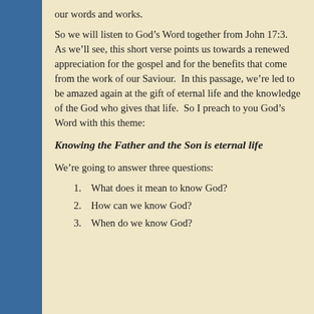our words and works.
So we will listen to God's Word together from John 17:3.  As we'll see, this short verse points us towards a renewed appreciation for the gospel and for the benefits that come from the work of our Saviour.  In this passage, we're led to be amazed again at the gift of eternal life and the knowledge of the God who gives that life.  So I preach to you God's Word with this theme:
Knowing the Father and the Son is eternal life
We're going to answer three questions:
1. What does it mean to know God?
2. How can we know God?
3. When do we know God?